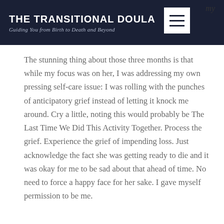THE TRANSITIONAL DOULA — Guiding You from Birth to Death and Beyond
The stunning thing about those three months is that while my focus was on her, I was addressing my own pressing self-care issue: I was rolling with the punches of anticipatory grief instead of letting it knock me around. Cry a little, noting this would probably be The Last Time We Did This Activity Together. Process the grief. Experience the grief of impending loss. Just acknowledge the fact she was getting ready to die and it was okay for me to be sad about that ahead of time. No need to force a happy face for her sake. I gave myself permission to be me.